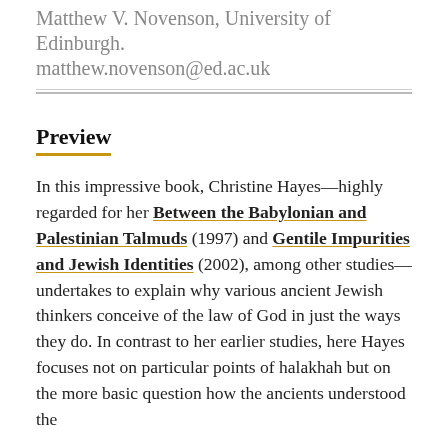Matthew V. Novenson, University of Edinburgh.
matthew.novenson@ed.ac.uk
Preview
In this impressive book, Christine Hayes—highly regarded for her Between the Babylonian and Palestinian Talmuds (1997) and Gentile Impurities and Jewish Identities (2002), among other studies—undertakes to explain why various ancient Jewish thinkers conceive of the law of God in just the ways they do. In contrast to her earlier studies, here Hayes focuses not on particular points of halakhah but on the more basic question how the ancients understood the